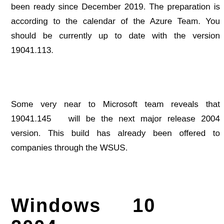been ready since December 2019. The preparation is according to the calendar of the Azure Team. You should be currently up to date with the version 19041.113.
Some very near to Microsoft team reveals that 19041.145 will be the next major release 2004 version. This build has already been offered to companies through the WSUS.
Windows  10  2004